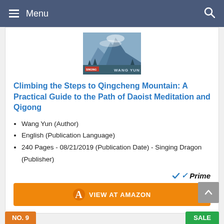Menu
[Figure (illustration): Book cover for 'Climbing the Steps to Qingcheng Mountain' by Wang Yun, showing a mountainous landscape with misty peaks in blue and white tones]
Climbing the Steps to Qingcheng Mountain: A Practical Guide to the Path of Daoist Meditation and Qigong
Wang Yun (Author)
English (Publication Language)
240 Pages - 08/21/2019 (Publication Date) - Singing Dragon (Publisher)
Prime VIEW AT AMAZON